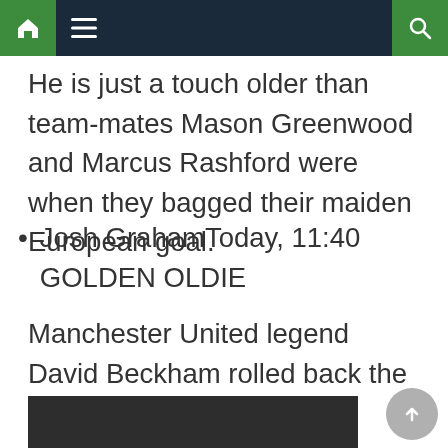Navigation bar with home, menu, and search icons
He is just a touch older than team-mates Mason Greenwood and Marcus Rashford were when they bagged their maiden European goal.
Josh GrahamToday, 11:40
GOLDEN OLDIE
Manchester United legend David Beckham rolled back the years to nail the crossbar challenge at Inter Miami.
[Figure (photo): Dark/black image block at the bottom of the page]